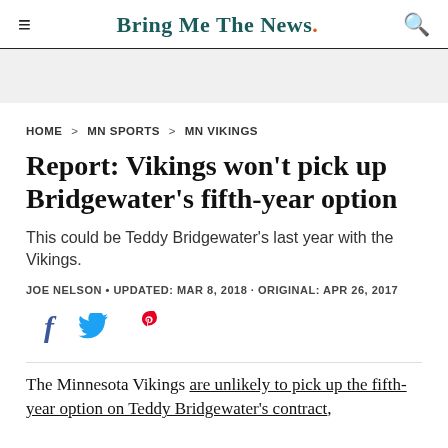Bring Me The News.
HOME > MN SPORTS > MN VIKINGS
Report: Vikings won't pick up Bridgewater's fifth-year option
This could be Teddy Bridgewater's last year with the Vikings.
JOE NELSON • UPDATED: MAR 8, 2018 · ORIGINAL: APR 26, 2017
[Figure (infographic): Social sharing icons: Facebook (f), Twitter (bird), Pinterest (P)]
The Minnesota Vikings are unlikely to pick up the fifth-year option on Teddy Bridgewater's contract,